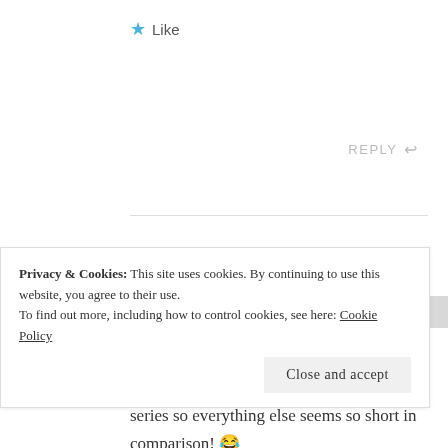★ Like
REPLY ↩
Taylor Reads Books says:
JUNE 20, 2017 AT 11:30 AM
Yes, yes it is. But I am currently working my way through the enormous Outlander series so everything else seems so short in comparison! 😂
Privacy & Cookies: This site uses cookies. By continuing to use this website, you agree to their use.
To find out more, including how to control cookies, see here: Cookie Policy
Close and accept